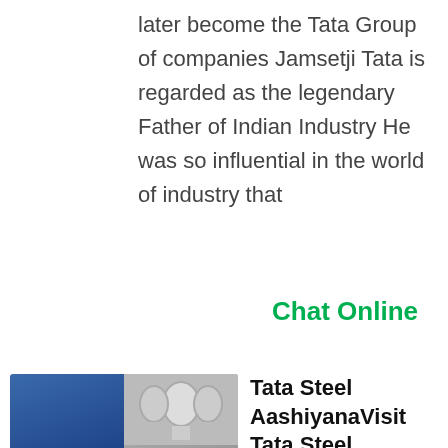later become the Tata Group of companies Jamsetji Tata is regarded as the legendary Father of Indian Industry He was so influential in the world of industry that
Chat Online
[Figure (photo): Collage of four industrial images related to Tata Steel showing buildings, pipes, and industrial equipment]
Tata Steel AashiyanaVisit Tata Steel Aashiyana Now
Aug 10 2021  Visit Tata Steel Aashiyana s new avatar now Tata Steel Aashiyana 4.6K views July 28 0 17 Tata Steel Aashiyana Referral Program Tata Steel Aashiyana 5.7K views July 25 0 08 Pages Other Brand Product/Service Tata Steel Aashiyana Videos